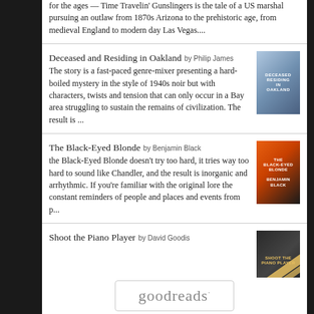for the ages — Time Travelin' Gunslingers is the tale of a US marshal pursuing an outlaw from 1870s Arizona to the prehistoric age, from medieval England to modern day Las Vegas....
Deceased and Residing in Oakland
by Philip James
The story is a fast-paced genre-mixer presenting a hard-boiled mystery in the style of 1940s noir but with characters, twists and tension that can only occur in a Bay area struggling to sustain the remains of civilization. The result is ...
[Figure (photo): Book cover for Deceased and Residing in Oakland]
The Black-Eyed Blonde
by Benjamin Black
the Black-Eyed Blonde doesn't try too hard, it tries way too hard to sound like Chandler, and the result is inorganic and arrhythmic. If you're familiar with the original lore the constant reminders of people and places and events from p...
[Figure (photo): Book cover for The Black-Eyed Blonde]
Shoot the Piano Player
by David Goodis
[Figure (photo): Book cover for Shoot the Piano Player]
[Figure (logo): goodreads logo]